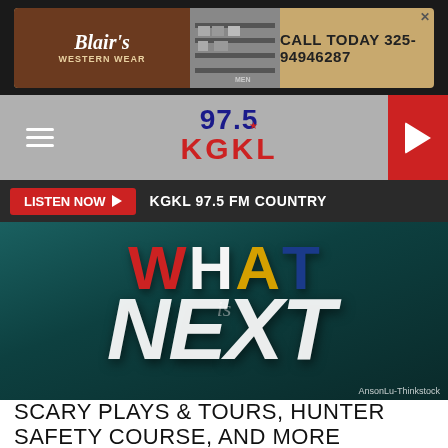[Figure (other): Blair's Western Wear advertisement banner with text 'CALL TODAY 325-94946287']
[Figure (logo): 97.5 KGKL radio station logo in navigation bar with hamburger menu and red play button]
LISTEN NOW ▶  KGKL 97.5 FM COUNTRY
[Figure (photo): Photo of chalkboard with colorful 3D letters spelling WHAT IS NEXT, credit: AnsonLu-Thinkstock]
AnsonLu-Thinkstock
SCARY PLAYS & TOURS, HUNTER SAFETY COURSE, AND MORE